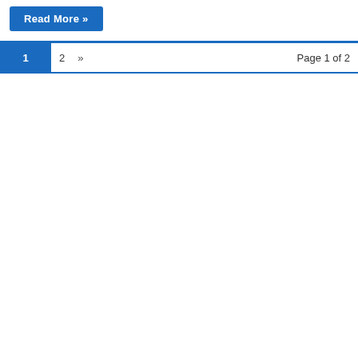Read More »
1  2  »  Page 1 of 2